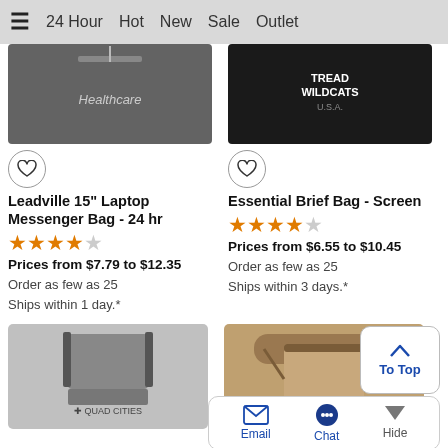☰  24 Hour  Hot  New  Sale  Outlet
[Figure (photo): Gray messenger bag with Healthcare text/logo (partially visible, cropped top)]
[Figure (photo): Black brief bag with WILDCATS text (partially visible, cropped top)]
Leadville 15" Laptop Messenger Bag - 24 hr
★★★★☆
Prices from $7.79 to $12.35
Order as few as 25
Ships within 1 day.*
Essential Brief Bag - Screen
★★★★½
Prices from $6.55 to $10.45
Order as few as 25
Ships within 3 days.*
[Figure (photo): Gray laptop bag with cross/medical logo at bottom]
[Figure (photo): Brown/tan bag partially visible]
To Top
Email  Chat  Hide